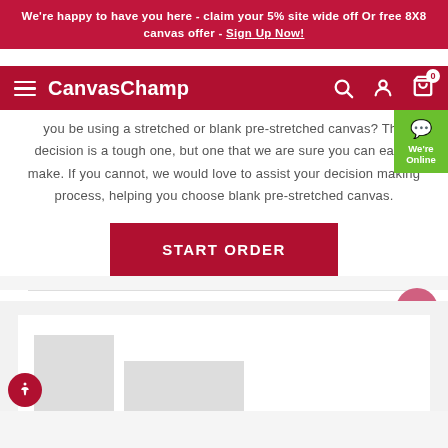We're happy to have you here - claim your 5% site wide off Or free 8X8 canvas offer - Sign Up Now!
[Figure (screenshot): CanvasChamp navigation bar with hamburger menu, brand name, search icon, account icon, and cart icon with badge showing 0]
you be using a stretched or blank pre-stretched canvas? The decision is a tough one, but one that we are sure you can easily make. If you cannot, we would love to assist your decision making process, helping you choose blank pre-stretched canvas.
[Figure (other): START ORDER button in dark red]
[Figure (other): Green We're Online chat badge on right side]
[Figure (other): Pink scroll-to-top button with upward chevron]
[Figure (illustration): Canvas product preview showing two blank white/grey canvas rectangles of different sizes on a light grey background]
[Figure (other): Red accessibility button with person icon at bottom left]